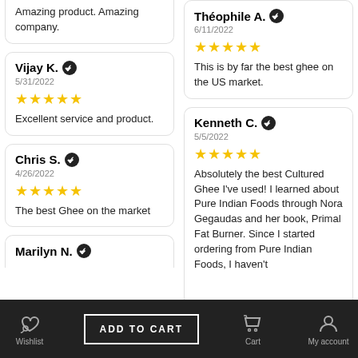Amazing product. Amazing company.
Vijay K. ✓
5/31/2022
★★★★★
Excellent service and product.
Chris S. ✓
4/26/2022
★★★★★
The best Ghee on the market
Marilyn N. ✓
Théophile A. ✓
6/11/2022
★★★★★
This is by far the best ghee on the US market.
Kenneth C. ✓
5/5/2022
★★★★★
Absolutely the best Cultured Ghee I've used! I learned about Pure Indian Foods through Nora Gegaudas and her book, Primal Fat Burner. Since I started ordering from Pure Indian Foods, I haven't
ADD TO CART
Wishlist
Cart
My account